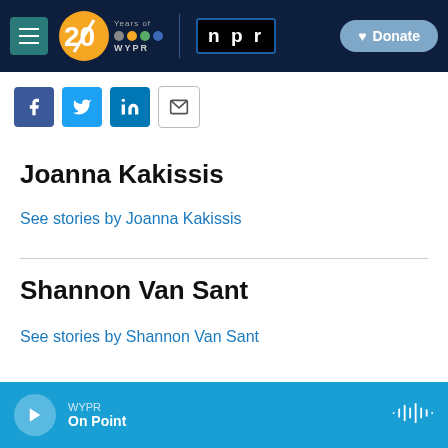[Figure (screenshot): WYPR 20 Years navigation bar with hamburger menu, 20 Years of WYPR logo, NPR logo, and Donate button on dark navy background]
[Figure (screenshot): Social sharing buttons: Facebook, Twitter, LinkedIn, Email]
Joanna Kakissis
See stories by Joanna Kakissis
Shannon Van Sant
See stories by Shannon Van Sant
WYPR On Point